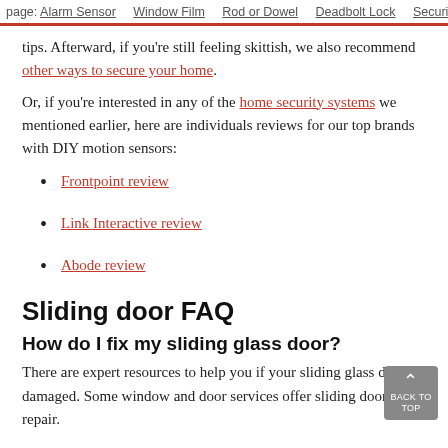page: Alarm Sensor  Window Film  Rod or Dowel  Deadbolt Lock  Security Camo
tips. Afterward, if you’re still feeling skittish, we also recommend other ways to secure your home.
Or, if you’re interested in any of the home security systems we mentioned earlier, here are individuals reviews for our top brands with DIY motion sensors:
Frontpoint review
Link Interactive review
Abode review
Sliding door FAQ
How do I fix my sliding glass door?
There are expert resources to help you if your sliding glass door is damaged. Some window and door services offer sliding door repair.